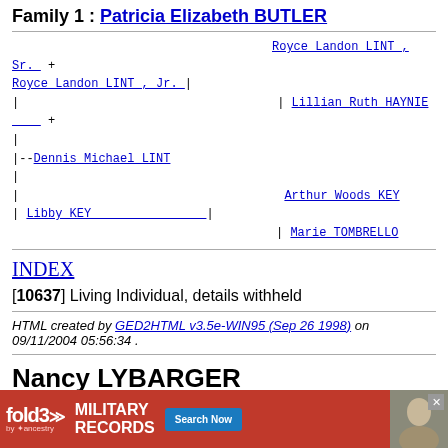Family 1 : Patricia Elizabeth BUTLER
Tree block: Royce Landon LINT Sr. + / Royce Landon LINT Jr. | / | Lillian Ruth HAYNIE + / | / |--Dennis Michael LINT / | / | Arthur Woods KEY / | Libby KEY | / | Marie TOMBRELLO
INDEX
[10637] Living Individual, details withheld
HTML created by GED2HTML v3.5e-WIN95 (Sep 26 1998) on 09/11/2004 05:56:34 .
Nancy LYBARGER
[13582]
[Figure (other): fold3 by Ancestry advertisement banner for Military Records with Search Now button and close X button]